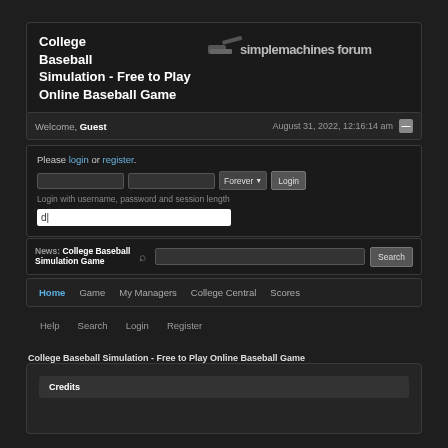College Baseball Simulation - Free to Play Online Baseball Game
[Figure (logo): Simple Machines Forum logo with tank icon and text 'simplemachines forum']
Welcome, Guest  August 31, 2022, 12:16:14 am
Please login or register. Login with username, password and session length. Forever Login
News: College Baseball Simulation Game  Search
Home  Game  My Managers  College Central  Scores
Help  Search  Login  Register
College Baseball Simulation - Free to Play Online Baseball Game
Credits